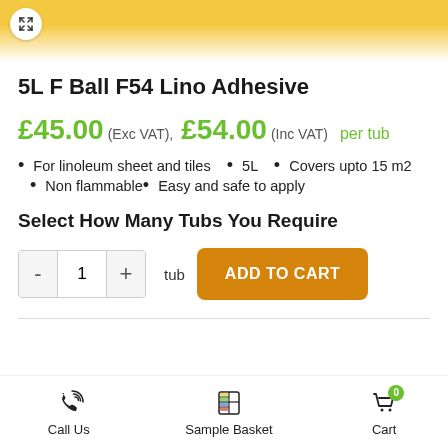[Figure (photo): Partial view of a yellow/gold tub of F Ball F54 Lino Adhesive product, showing the lid and upper portion of the container]
5L F Ball F54 Lino Adhesive
£45.00 (Exc VAT), £54.00 (Inc VAT) per tub
For linoleum sheet and tiles
5L
Covers upto 15 m2
Non flammable
Easy and safe to apply
Select How Many Tubs You Require
- 1 + tub  ADD TO CART
Call Us  Sample Basket  Cart